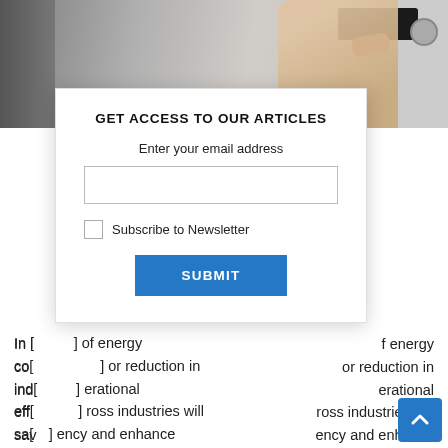[Figure (photo): A hand pressing a button on an industrial control panel or thermostat device, viewed close up.]
In [partial] of energy consumption [partial] or reduction in industrial [partial] erational efficiency [partial] ross industries will save [partial] ency and enhance the [partial] on in industries provide [partial] decreased fuel consumption [partial] and enhanced sustainability.
GET ACCESS TO OUR ARTICLES
Enter your email address
Subscribe to Newsletter
SUBMIT
The potential measures to increase energy efficiency in industries can broadly be classified as replacement of energy-inefficient equipment, improvement in manufacturing-related planning, integration of efficient captive energy systems (waste heat recovery, cogeneration, etc.) and deployment of energy efficient